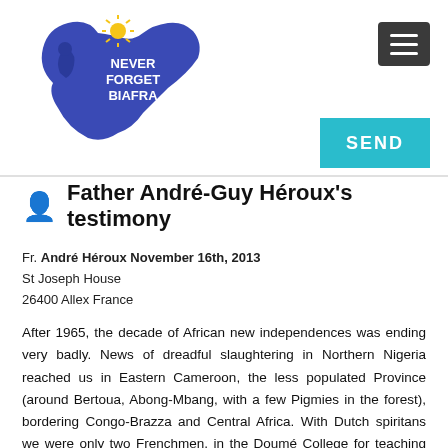[Figure (logo): Never Forget Biafra logo — blue silhouette map shape with a yellow sun and white text reading NEVER FORGET BIAFRA, a figure on the left side]
Father André-Guy Héroux's testimony
Fr. André Héroux November 16th, 2013
St Joseph House
26400 Allex France
After 1965, the decade of African new independences was ending very badly. News of dreadful slaughtering in Northern Nigeria reached us in Eastern Cameroon, the less populated Province (around Bertoua, Abong-Mbang, with a few Pigmies in the forest), bordering Congo-Brazza and Central Africa. With Dutch spiritans we were only two Frenchmen, in the Doumé College for teaching our tongue; I was outraged, and approved of the secession of Biafra, at variance (for the first and only time) with my older Fr.